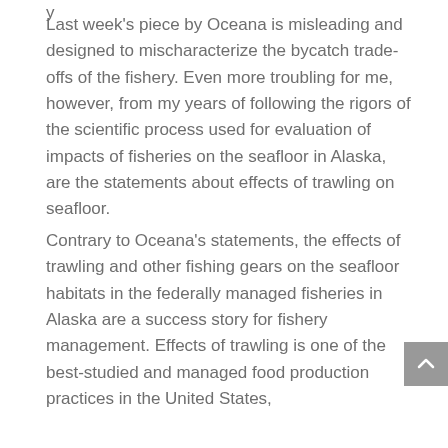Last week’s piece by Oceana is misleading and designed to mischaracterize the bycatch trade-offs of the fishery. Even more troubling for me, however, from my years of following the rigors of the scientific process used for evaluation of impacts of fisheries on the seafloor in Alaska, are the statements about effects of trawling on seafloor.
Contrary to Oceana’s statements, the effects of trawling and other fishing gears on the seafloor habitats in the federally managed fisheries in Alaska are a success story for fishery management. Effects of trawling is one of the best-studied and managed food production practices in the United States,